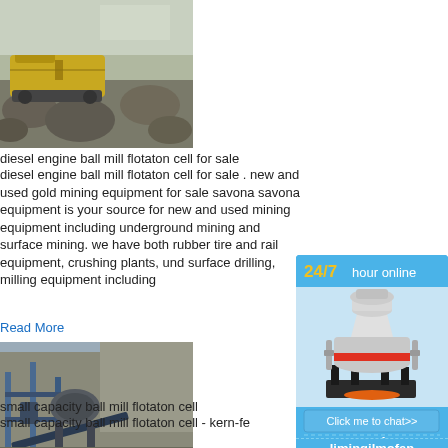[Figure (photo): Aerial or close-up photo of a diesel engine ball mill / flotation cell mining equipment at a quarry or mine site, showing yellow and grey machinery amid rocks and rubble.]
diesel engine ball mill flotaton cell for sale
diesel engine ball mill flotaton cell for sale . new and used gold mining equipment for sale savona savona equipment is your source for new and used mining equipment including underground mining and surface mining. we have both rubber tire and rail equipment, crushing plants, und surface drilling, milling equipment including
Read More
[Figure (photo): Photo of a small capacity ball mill flotation cell — a large industrial grinding/flotation machine at a mining site with blue metal structures and conveyor belts against a rocky cliff face.]
small capacity ball mill flotaton cell
small capacity ball mill flotaton cell - kern-fe
[Figure (illustration): Chat/support widget sidebar with '24/7 hour online' text in yellow and white, an image of a cone crusher machine (white with red and black accents), a 'Click me to chat>>' button, 'Enquiry' text, and 'limingjlmofen' text at the bottom.]